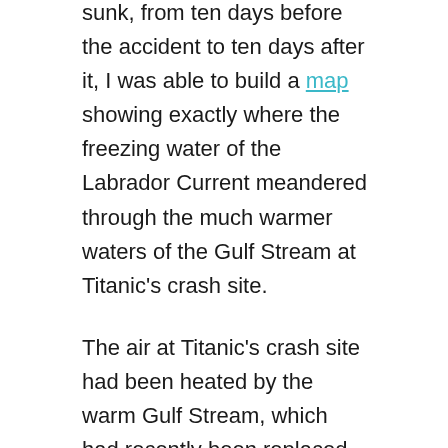sunk, from ten days before the accident to ten days after it, I was able to build a map showing exactly where the freezing water of the Labrador Current meandered through the much warmer waters of the Gulf Stream at Titanic's crash site.
The air at Titanic's crash site had been heated by the warm Gulf Stream, which had recently been replaced by the freezing Labrador Current flowing into this area and cooling the air column from the bottom up. This had the effect of trapping cold air below warmer air, an unusual state of the atmosphere known as a thermal inversion. In these conditions the colder, denser air near the sea surface acts as a lens, bending light sharply downwards, around the curvature of the earth,